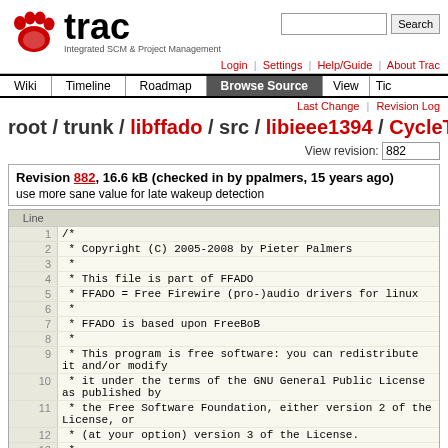[Figure (logo): Trac logo with red paw print and text 'trac', subtitle 'Integrated SCM & Project Management']
Login | Settings | Help/Guide | About Trac
Wiki | Timeline | Roadmap | Browse Source | View | Tickets
Last Change | Revision Log
root / trunk / libffado / src / libieee1394 / CycleTim...
View revision: 882
Revision 882, 16.6 kB (checked in by ppalmers, 15 years ago)
use more sane value for late wakeup detection
| Line |  |
| --- | --- |
| 1 | /* |
| 2 |  * Copyright (C) 2005-2008 by Pieter Palmers |
| 3 |  * |
| 4 |  * This file is part of FFADO |
| 5 |  * FFADO = Free Firewire (pro-)audio drivers for linux |
| 6 |  * |
| 7 |  * FFADO is based upon FreeBoB |
| 8 |  * |
| 9 |  * This program is free software: you can redistribute it and/or modify |
| 10 |  * it under the terms of the GNU General Public License as published by |
| 11 |  * the Free Software Foundation, either version 2 of the License, or |
| 12 |  * (at your option) version 3 of the License. |
| 13 |  * |